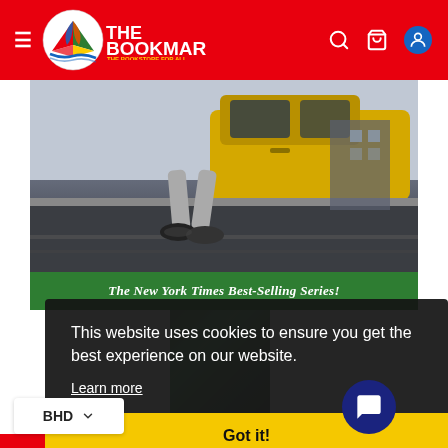The Bookmart — The Bookstore For All
[Figure (illustration): Animated/illustrated scene showing a person's legs and shoes near a yellow car, dark urban background with a green banner reading 'The New York Times Best-Selling Series!']
This website uses cookies to ensure you get the best experience on our website.
Learn more
Got it!
BHD